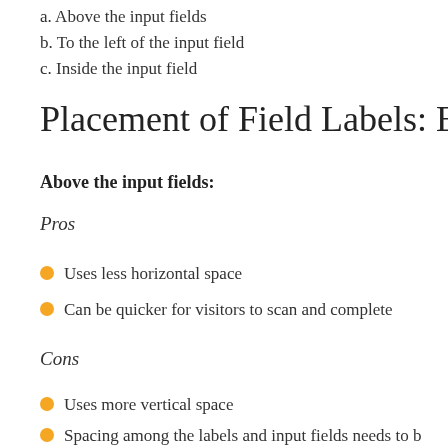a. Above the input fields
b. To the left of the input field
c. Inside the input field
Placement of Field Labels: Best
Above the input fields:
Pros
Uses less horizontal space
Can be quicker for visitors to scan and complete
Cons
Uses more vertical space
Spacing among the labels and input fields needs to be remove any confusion over which label goes with w